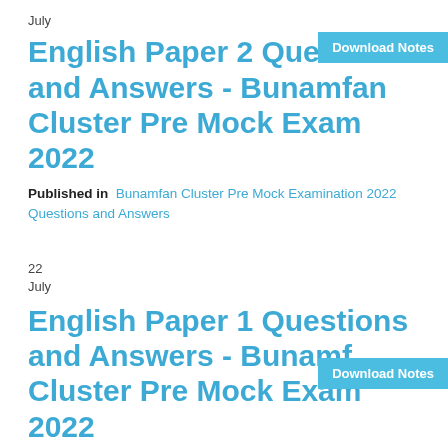July
English Paper 2 Questions and Answers - Bunamfan Cluster Pre Mock Exam 2022
Published in  Bunamfan Cluster Pre Mock Examination 2022 Questions and Answers
22
July
English Paper 1 Questions and Answers - Bunamfan Cluster Pre Mock Exam 2022